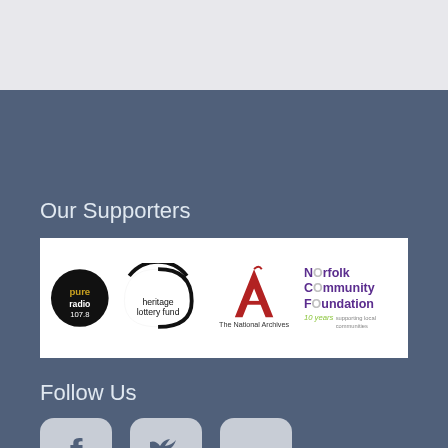Our Supporters
[Figure (logo): Supporter logos: Pure Radio 107.8, Heritage Lottery Fund, The National Archives, Norfolk Community Foundation 10 years]
Follow Us
[Figure (infographic): Social media icons: Facebook, Twitter, LinkedIn]
© 2022 WISEArchive. All Rights Reserved.